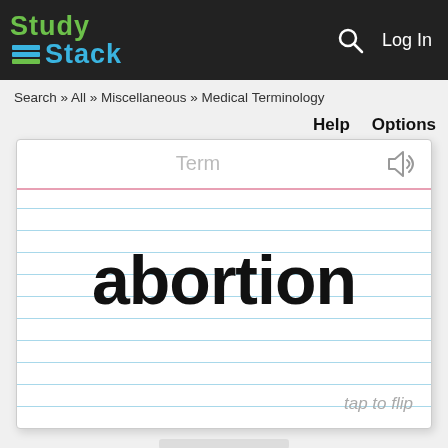StudyStack — Log In
Search » All » Miscellaneous » Medical Terminology
Help   Options
[Figure (screenshot): A flashcard interface showing the word 'abortion' on a lined notecard background, with 'Term' label at top and 'tap to flip' at bottom right.]